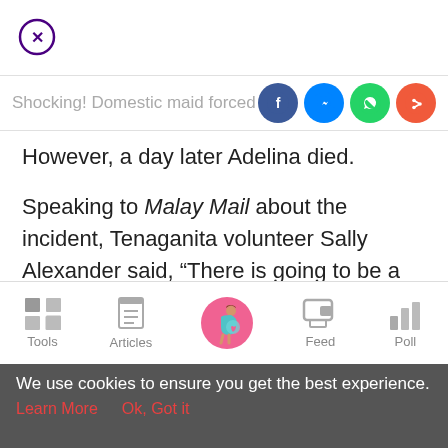[Figure (other): Close/X button in a circle (purple outline)]
Shocking! Domestic maid forced to sh...
[Figure (other): Social share icons: Facebook, Messenger, WhatsApp, Share]
However, a day later Adelina died.
Speaking to Malay Mail about the incident, Tenaganita volunteer Sally Alexander said, “There is going to be a post mortem. We’ll determine the cause of death.”
[Figure (other): Bottom navigation bar with Tools, Articles, center pregnant woman icon, Feed, Poll]
We use cookies to ensure you get the best experience.
Learn More   Ok, Got it